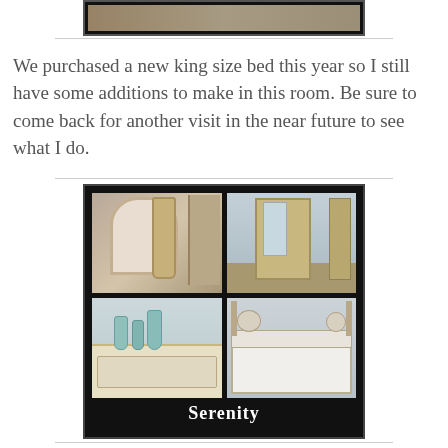[Figure (photo): Partial top of a framed photo collage showing bedroom images, cropped at top of page]
We purchased a new king size bed this year so I still have some additions to make in this room. Be sure to come back for another visit in the near future to see what I do.
[Figure (photo): A 2x2 photo collage in a black frame showing four bedroom photos: top-left is a close-up of a bed headboard post, top-right is an armoire/dresser with mirror, bottom-left is a white dresser with blue glass vases, bottom-right is a bed with white linens. The label 'Serenity' appears in white text at the bottom of the black frame.]